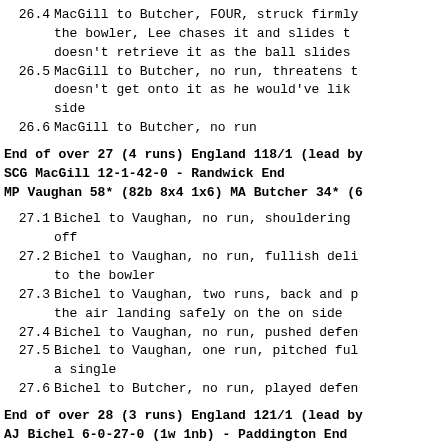26.4 MacGill to Butcher, FOUR, struck firmly the bowler, Lee chases it and slides t doesn't retrieve it as the ball slides
26.5 MacGill to Butcher, no run, threatens t doesn't get onto it as he would've lik side
26.6 MacGill to Butcher, no run
End of over 27 (4 runs) England 118/1 (lead by
SCG MacGill 12-1-42-0 - Randwick End
MP Vaughan 58* (82b 8x4 1x6) MA Butcher 34* (6
27.1 Bichel to Vaughan, no run, shouldering off
27.2 Bichel to Vaughan, no run, fullish deli to the bowler
27.3 Bichel to Vaughan, two runs, back and p the air landing safely on the on side
27.4 Bichel to Vaughan, no run, pushed defen
27.5 Bichel to Vaughan, one run, pitched ful a single
27.6 Bichel to Butcher, no run, played defen
End of over 28 (3 runs) England 121/1 (lead by
AJ Bichel 6-0-27-0 (1w 1nb) - Paddington End